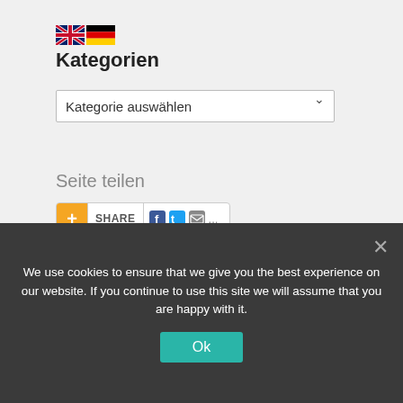[Figure (illustration): UK and German flag icons side by side]
Kategorien
[Figure (screenshot): Dropdown select box with label 'Kategorie auswählen' and a chevron arrow]
Seite teilen
[Figure (screenshot): Share bar with plus icon, SHARE text, and social media icons for Facebook, Twitter, email]
Monthly Archive
[Figure (screenshot): Dropdown select box with label 'Monat auswählen' and a chevron arrow]
We use cookies to ensure that we give you the best experience on our website. If you continue to use this site we will assume that you are happy with it.